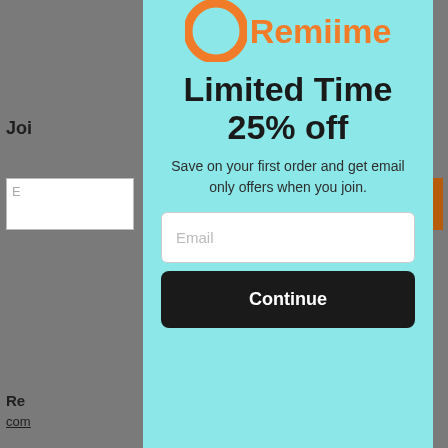[Figure (screenshot): Background webpage content partially visible behind modal popup, showing greyed out website with text fragments 'Joi', 'Re', 'com', '(80', '©2', 'Rem', 'pro', 'Sec' and an orange button]
[Figure (screenshot): Remiime brand popup modal with teal/aqua background showing orange circular logo, orange 'Remiime' brand name, bold headline 'Limited Time 25% off', subtext 'Save on your first order and get email only offers when you join.', email input field, and black Continue button]
Limited Time 25% off
Save on your first order and get email only offers when you join.
Email
Continue